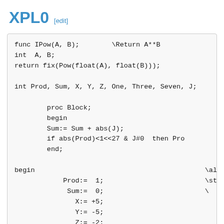XPL0 [edit]
func IPow(A, B);        \Return A**B
int  A, B;
return fix(Pow(float(A), float(B)));

int Prod, Sum, X, Y, Z, One, Three, Seven, J;

        proc Block;
        begin
        Sum:= Sum + abs(J);
        if abs(Prod)<1<<27 & J#0  then Pro
        end;

begin                                          \all \
            Prod:=  1;                         \start
             Sum:=  0;                         \  "
               X:= +5;
               Y:= -5;
               Z:= -2;
            One:=  1;
          Three:=  3;